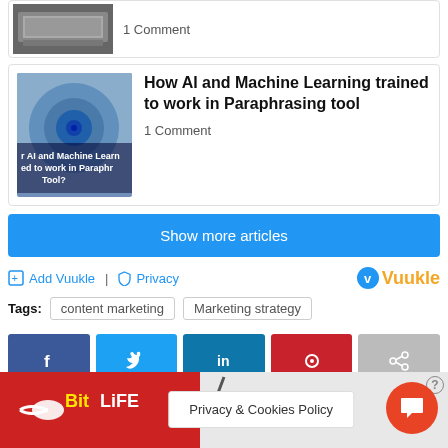[Figure (screenshot): Partial article card with laptop image thumbnail and '1 Comment' text]
How AI and Machine Learning trained to work in Paraphrasing tool
1 Comment
Show more articles
Add Vuukle  Privacy  Vuukle
Tags: content marketing  Marketing strategy
[Figure (screenshot): Social share buttons: Facebook, Twitter, LinkedIn, Pinterest, Share]
[Figure (screenshot): Bottom ad bar with BitLife logo and Murder game ad, plus Privacy & Cookies Policy popup]